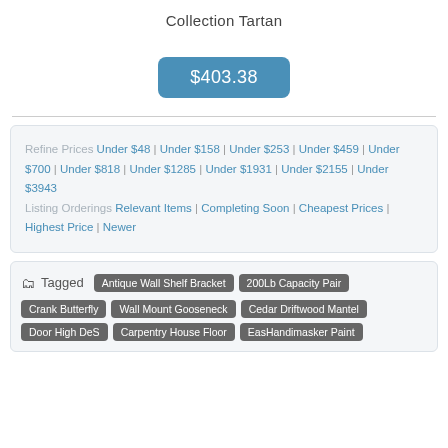Collection Tartan
$403.38
Refine Prices Under $48 | Under $158 | Under $253 | Under $459 | Under $700 | Under $818 | Under $1285 | Under $1931 | Under $2155 | Under $3943 Listing Orderings Relevant Items | Completing Soon | Cheapest Prices | Highest Price | Newer
Tagged Antique Wall Shelf Bracket 200Lb Capacity Pair Crank Butterfly Wall Mount Gooseneck Cedar Driftwood Mantel Door High DeS Carpentry House Floor EasHandimasker Paint